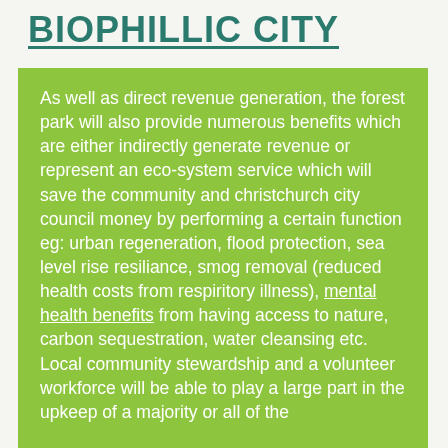BIOPHILLIC CITY
As well as direct revenue generation, the forest park will also provide numerous benefits which are either indirectly generate revenue or represent an eco-system service which will save the community and christchurch city council money by performing a certain function eg: urban regeneration, flood protection, sea level rise resiliance, smog removal (reduced health costs from respiritory illness), mental health benefits from having access to nature, carbon sequestration, water cleansing etc. Local community stewardship and a volunteer workforce will be able to play a large part in the upkeep of a majority or all of the